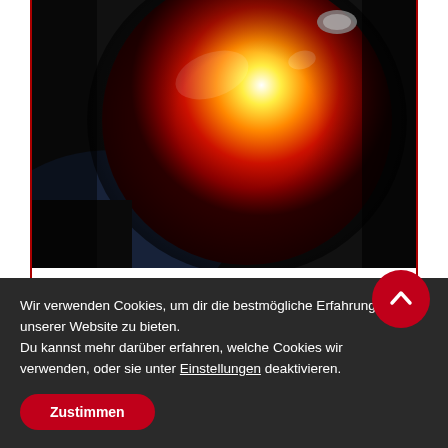[Figure (photo): Close-up photo of a red alarm light/siren glowing brightly with orange and yellow center, blurred dark background]
Alarmanlagen
Wir verwenden Cookies, um dir die bestmögliche Erfahrung unserer Website zu bieten.
Du kannst mehr darüber erfahren, welche Cookies wir verwenden, oder sie unter Einstellungen deaktivieren.
Zustimmen